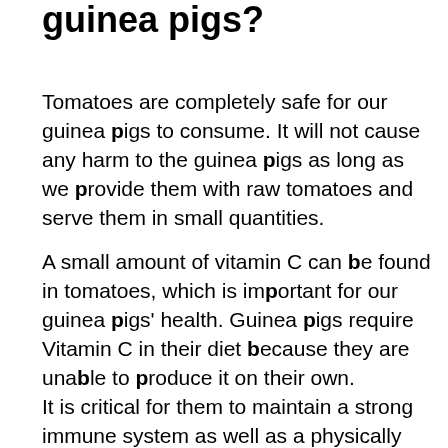Is it safe to feed tomatoes to guinea pigs?
Tomatoes are completely safe for our guinea pigs to consume. It will not cause any harm to the guinea pigs as long as we provide them with raw tomatoes and serve them in small quantities.
A small amount of vitamin C can be found in tomatoes, which is important for our guinea pigs' health. Guinea pigs require Vitamin C in their diet because they are unable to produce it on their own.
It is critical for them to maintain a strong immune system as well as a physically healthy body.